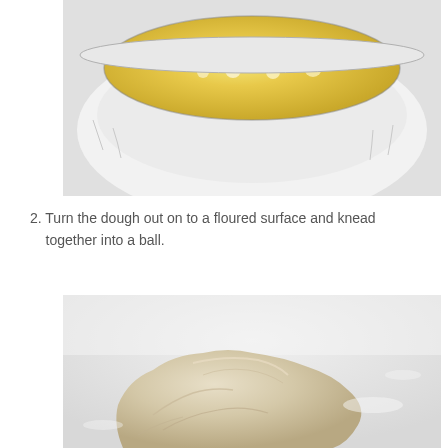[Figure (photo): Close-up of a glass or white ceramic bowl containing beaten eggs or a yellow liquid mixture with foam/bubbles on the surface, viewed from above at an angle. The bowl rim is visible and the background is white.]
2. Turn the dough out on to a floured surface and knead together into a ball.
[Figure (photo): Close-up of rough, shaggy bread dough on a white floured marble surface. The dough is pale beige/tan in color and appears unworked, sitting in a mound on the surface.]